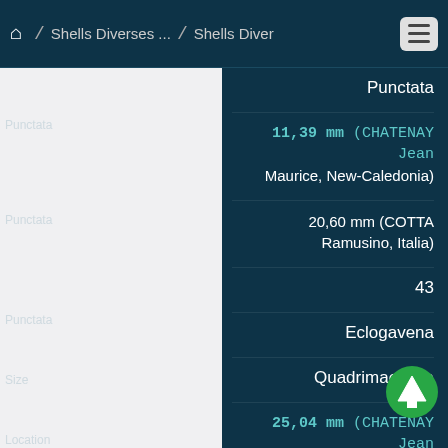Home / Shells Diverses ... / Shells Diver
[Figure (photo): Left panel showing shell specimen images with faded labels]
Punctata
11,39 mm (CHATENAY Jean Maurice, New-Caledonia)
20,60 mm (COTTA Ramusino, Italia)
43
Eclogavena
Quadrimaculata
25,04 mm (CHATENAY Jean Maurice, New-Caledonia)